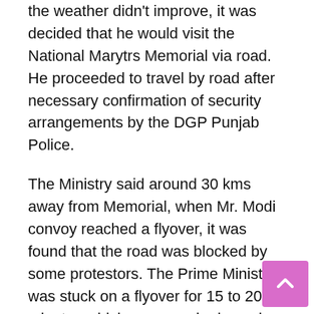the weather didn't improve, it was decided that he would visit the National Marytrs Memorial via road. He proceeded to travel by road after necessary confirmation of security arrangements by the DGP Punjab Police.
The Ministry said around 30 kms away from Memorial, when Mr. Modi convoy reached a flyover, it was found that the road was blocked by some protestors. The Prime Minister was stuck on a flyover for 15 to 20 minutes which was a major lapse in the security.
The Home Ministry said, Mr. Modi's schedule and travel plan was communicated well in advance to the Punjab Government and as per procedure, it has to make necessary arrangements for logistics, security as well